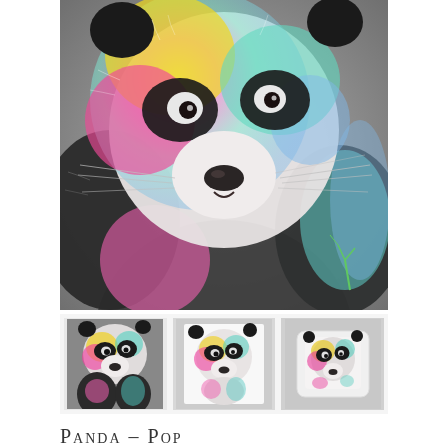[Figure (illustration): A colorful pop-art style illustration of a giant panda with rainbow-colored fur patches including yellow, pink, teal, and blue on a dark background. The panda is shown from the upper body, facing forward with detailed pencil-like fur texture.]
[Figure (illustration): Three thumbnail images of the same rainbow panda artwork shown in different product mockups: first thumbnail shows the panda art print alone on dark background, second shows the print on a white canvas/board, third shows the print as a cushion/pillow product.]
Panda – Pop